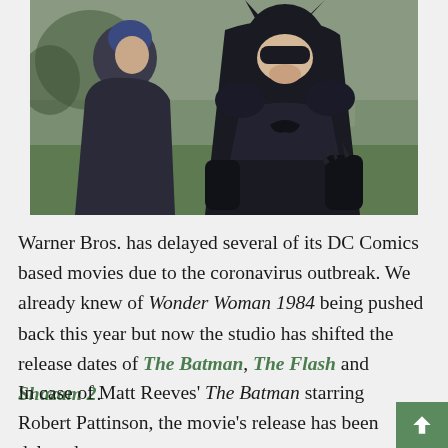[Figure (photo): On-set photo showing a person in a Batman suit (dark armored costume with cowl/mask) facing a person in a rain jacket with a blue beanie, apparently on a film set outdoors with green grass and gravestones in the background.]
Warner Bros. has delayed several of its DC Comics based movies due to the coronavirus outbreak. We already knew of Wonder Woman 1984 being pushed back this year but now the studio has shifted the release dates of The Batman, The Flash and Shazam 2.
In case of Matt Reeves' The Batman starring Robert Pattinson, the movie's release has been delayed